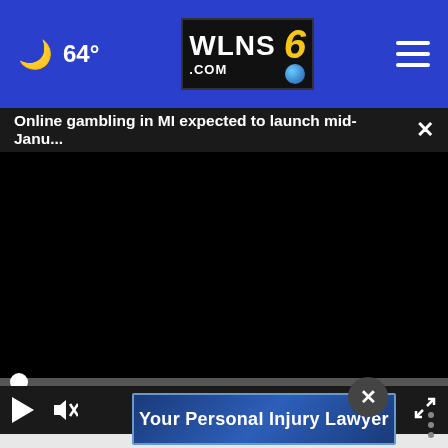[Figure (screenshot): WLNS 6 News website navigation bar with moon icon, temperature 64°, WLNS6.COM logo, and hamburger menu]
Online gambling in MI expected to launch mid-Janu...  ×
[Figure (screenshot): Black video player with progress bar showing 00:00, play button, mute button, closed caption button, and fullscreen button]
[Figure (screenshot): Advertisement banner showing 'Your Personal Injury Lawyer' with a close (X) button]